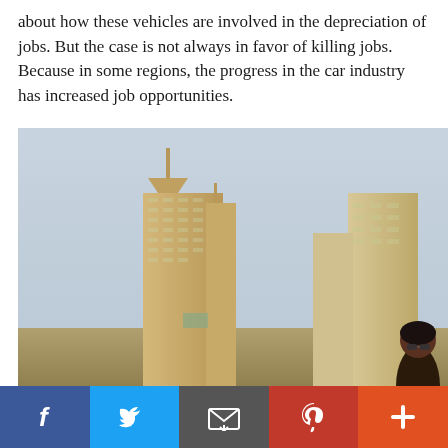about how these vehicles are involved in the depreciation of jobs. But the case is not always in favor of killing jobs. Because in some regions, the progress in the car industry has increased job opportunities.
[Figure (photo): Photo of city skyline with tall beige/gold skyscrapers against a pale blue sky, with a person visible at the bottom right corner wearing sunglasses.]